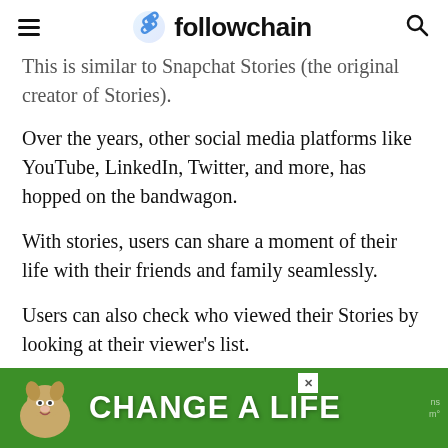followchain
This is similar to Snapchat Stories (the original creator of Stories).
Over the years, other social media platforms like YouTube, LinkedIn, Twitter, and more, has hopped on the bandwagon.
With stories, users can share a moment of their life with their friends and family seamlessly.
Users can also check who viewed their Stories by looking at their viewer's list.
[Figure (illustration): Advertisement banner with green background showing a dog and 'CHANGE A LIFE' text]